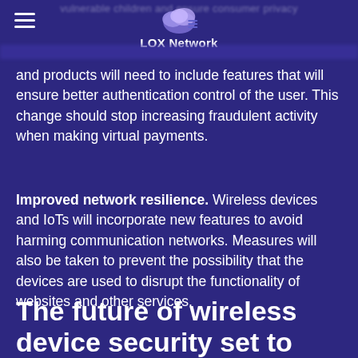LOX Network
and products will need to include features that will ensure better authentication control of the user. This change should stop increasing fraudulent activity when making virtual payments.
Improved network resilience. Wireless devices and IoTs will incorporate new features to avoid harming communication networks. Measures will also be taken to prevent the possibility that the devices are used to disrupt the functionality of websites and other services.
The future of wireless device security set to